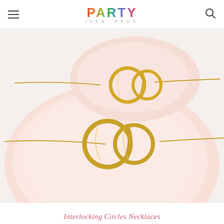PARTY IDEA PROS
[Figure (photo): Two gold interlocking circles necklaces displayed on pink ceramic plate dishes against a white background. The necklaces feature double-ring pendants on fine gold chain, one smaller arrangement on a smaller dish at top, and one larger arrangement on a larger plate below.]
Interlocking Circles Necklaces